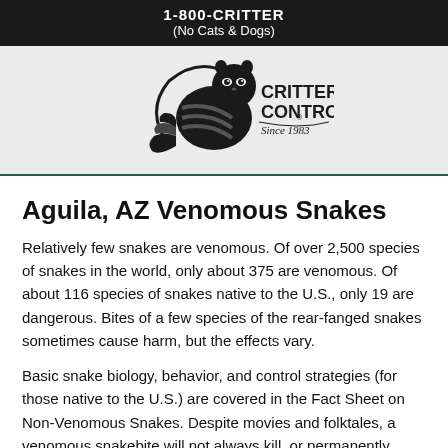1-800-CRITTER
(No Cats & Dogs)
[Figure (logo): Critter Control logo with raccoon graphic and text 'Since 1983']
Aguila, AZ Venomous Snakes
Relatively few snakes are venomous. Of over 2,500 species of snakes in the world, only about 375 are venomous. Of about 116 species of snakes native to the U.S., only 19 are dangerous. Bites of a few species of the rear-fanged snakes sometimes cause harm, but the effects vary.
Basic snake biology, behavior, and control strategies (for those native to the U.S.) are covered in the Fact Sheet on Non-Venomous Snakes. Despite movies and folktales, a venomous snakebite will not always kill, or permanently